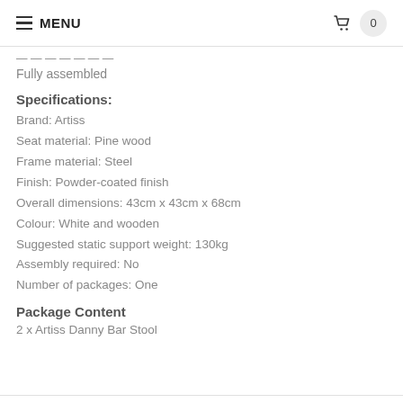MENU  0
Fully assembled
Specifications:
Brand: Artiss
Seat material: Pine wood
Frame material: Steel
Finish: Powder-coated finish
Overall dimensions: 43cm x 43cm x 68cm
Colour: White and wooden
Suggested static support weight: 130kg
Assembly required: No
Number of packages: One
Package Content
2 x Artiss Danny Bar Stool